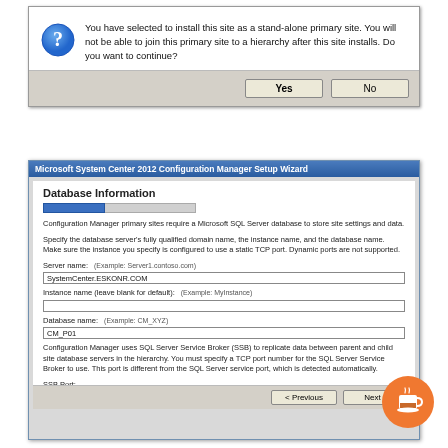[Figure (screenshot): Windows dialog box asking: 'You have selected to install this site as a stand-alone primary site. You will not be able to join this primary site to a hierarchy after this site installs. Do you want to continue?' with Yes and No buttons.]
[Figure (screenshot): Microsoft System Center 2012 Configuration Manager Setup Wizard - Database Information screen. Fields: Server name (SystemCenter.ESKONR.COM), Instance name (blank), Database name (CM_P01), SSB Port (4022). Includes Previous and Next buttons.]